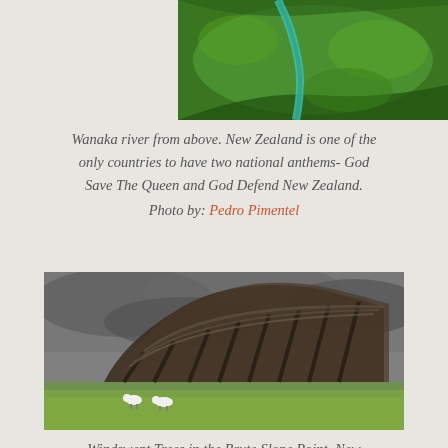[Figure (photo): Aerial view of Wanaka river area in New Zealand, showing green farmland with a turquoise river winding through it, viewed from above.]
Wanaka river from above. New Zealand is one of the only countries to have two national anthems- God Save The Queen and God Defend New Zealand. Photo by: Pedro Pimentel
[Figure (photo): Windswept trees dramatically bent sideways by prevailing winds at Slope Point, New Zealand, with sheep grazing in the green field below and dramatic cloudy sky above.]
Windswept Trees in the Brute Slope Point, New